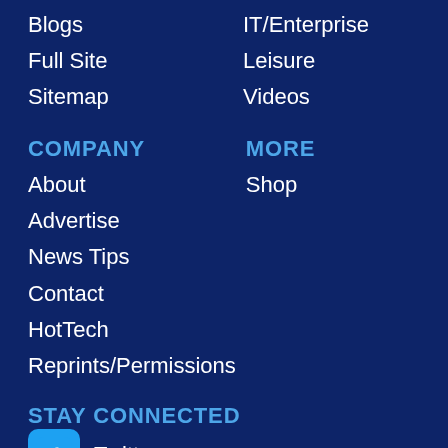Blogs
IT/Enterprise
Full Site
Leisure
Sitemap
Videos
COMPANY
MORE
About
Shop
Advertise
News Tips
Contact
HotTech
Reprints/Permissions
STAY CONNECTED
Twitter
Facebook